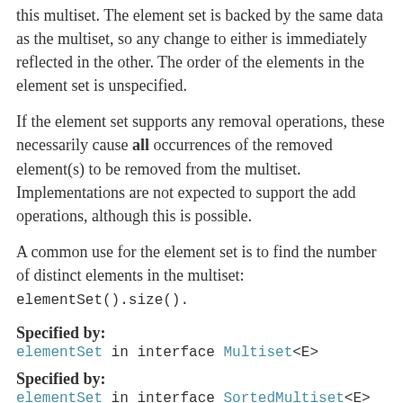this multiset. The element set is backed by the same data as the multiset, so any change to either is immediately reflected in the other. The order of the elements in the element set is unspecified.
If the element set supports any removal operations, these necessarily cause all occurrences of the removed element(s) to be removed from the multiset. Implementations are not expected to support the add operations, although this is possible.
A common use for the element set is to find the number of distinct elements in the multiset: elementSet().size().
Specified by:
elementSet in interface Multiset<E>
Specified by:
elementSet in interface SortedMultiset<E>
Overrides:
elementSet in class ForwardingMultiset<E>